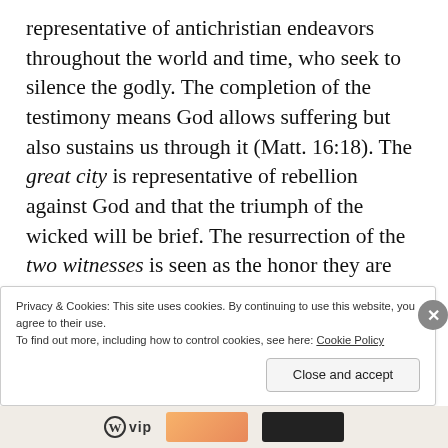representative of antichristian endeavors throughout the world and time, who seek to silence the godly. The completion of the testimony means God allows suffering but also sustains us through it (Matt. 16:18). The great city is representative of rebellion against God and that the triumph of the wicked will be brief. The resurrection of the two witnesses is seen as the honor they are given in heaven and the consternation of the evil people who did evil to them. Resurrection is also seen as the
Privacy & Cookies: This site uses cookies. By continuing to use this website, you agree to their use.
To find out more, including how to control cookies, see here: Cookie Policy
Close and accept